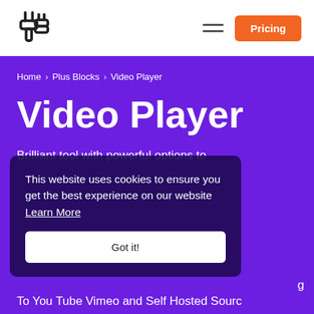[Figure (logo): Plus Blocks logo — chain link / plug icon in black outline]
[Figure (other): Hamburger menu icon (two horizontal lines)]
Pricing
Home › Plus Blocks › Video Player
Video Player
Brilliant tool with powerful options to
This website uses cookies to ensure you get the best experience on our website Learn More
Got it!
ns
To You Tube Vimeo and Self Hosted Sources